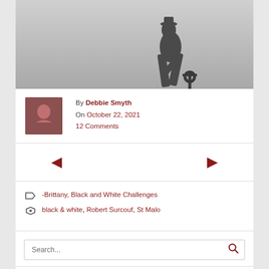[Figure (photo): Black and white photograph of a bronze statue of Robert Surcouf in St Malo, showing a figure in dynamic pose against a grey sky]
By Debbie Smyth
On October 22, 2021
12 Comments
Navigation arrows left and right
-Brittany, Black and White Challenges
black & white, Robert Surcouf, St Malo
Search...
Enter your email address to subscribe to this blog and receive notifications of new posts by email.